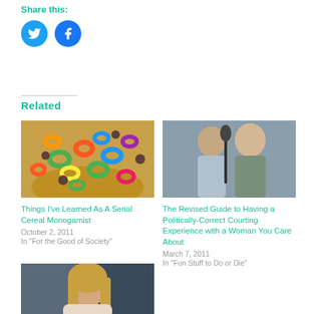Share this:
[Figure (illustration): Twitter and Facebook share icon buttons (circular blue icons)]
Related
[Figure (photo): Bowl of colorful fruit loops cereal]
Things I've Learned As A Serial Cereal Monogamist
October 2, 2011
In "For the Good of Society"
[Figure (photo): Man and woman sharing a microphone, couple singing]
The Revised Guide to Having a Politically-Correct Courting Experience with a Woman You Care About
March 7, 2011
In "Fun Stuff to Do or Die"
[Figure (photo): Blonde woman portrait photo]